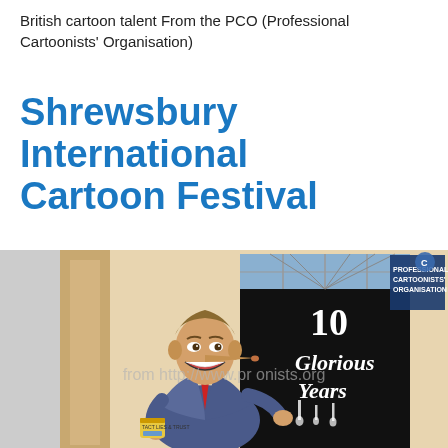British cartoon talent From the PCO (Professional Cartoonists' Organisation)
Shrewsbury International Cartoon Festival
[Figure (illustration): A political cartoon showing a caricature of Tony Blair with an elongated Pinocchio nose, wearing a suit with red tie, standing in front of 10 Downing Street door with graffiti text reading '10 Glorious Years'. A PCO (Professional Cartoonists' Organisation) logo is visible in the top right corner. A watermark reads 'from http://www.professionalcartoonists.org']